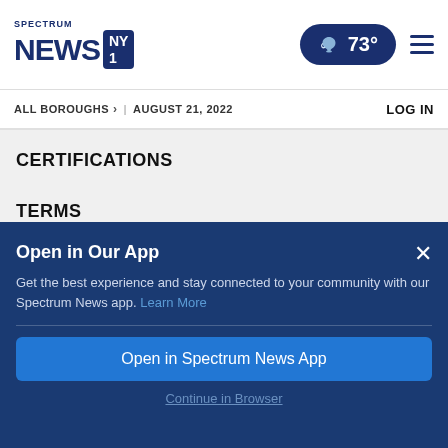SPECTRUM NEWS NY1 | 73° | menu | ALL BOROUGHS > | AUGUST 21, 2022 | LOG IN
CERTIFICATIONS
TERMS
PRIVACY
Open in Our App
Get the best experience and stay connected to your community with our Spectrum News app. Learn More
Open in Spectrum News App
Continue in Browser